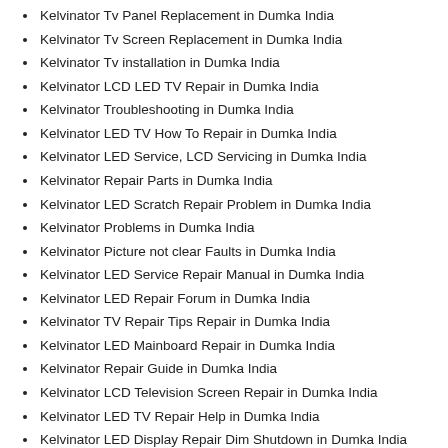Kelvinator Tv Panel Replacement in Dumka India
Kelvinator Tv Screen Replacement in Dumka India
Kelvinator Tv installation in Dumka India
Kelvinator LCD LED TV Repair in Dumka India
Kelvinator Troubleshooting in Dumka India
Kelvinator LED TV How To Repair in Dumka India
Kelvinator LED Service, LCD Servicing in Dumka India
Kelvinator Repair Parts in Dumka India
Kelvinator LED Scratch Repair Problem in Dumka India
Kelvinator Problems in Dumka India
Kelvinator Picture not clear Faults in Dumka India
Kelvinator LED Service Repair Manual in Dumka India
Kelvinator LED Repair Forum in Dumka India
Kelvinator TV Repair Tips Repair in Dumka India
Kelvinator LED Mainboard Repair in Dumka India
Kelvinator Repair Guide in Dumka India
Kelvinator LCD Television Screen Repair in Dumka India
Kelvinator LED TV Repair Help in Dumka India
Kelvinator LED Display Repair Dim Shutdown in Dumka India
Kelvinator Broken Touch Panel Repair in Dumka India